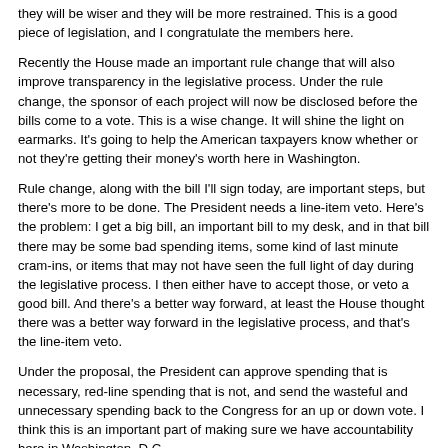they will be wiser and they will be more restrained. This is a good piece of legislation, and I congratulate the members here.
Recently the House made an important rule change that will also improve transparency in the legislative process. Under the rule change, the sponsor of each project will now be disclosed before the bills come to a vote. This is a wise change. It will shine the light on earmarks. It's going to help the American taxpayers know whether or not they're getting their money's worth here in Washington.
Rule change, along with the bill I'll sign today, are important steps, but there's more to be done. The President needs a line-item veto. Here's the problem: I get a big bill, an important bill to my desk, and in that bill there may be some bad spending items, some kind of last minute cram-ins, or items that may not have seen the full light of day during the legislative process. I then either have to accept those, or veto a good bill. And there's a better way forward, at least the House thought there was a better way forward in the legislative process, and that's the line-item veto.
Under the proposal, the President can approve spending that is necessary, red-line spending that is not, and send the wasteful and unnecessary spending back to the Congress for an up or down vote. I think this is an important part of making sure we have accountability here in Washington, D.C.
I want to thank the House for passing the bill. I would hope the Senate would take it up. We can work together to inspire confidence in the appropriations process here in Washington. And it's in the interest of both political parties to do so, and it's in the interest of both branches of government to do so.